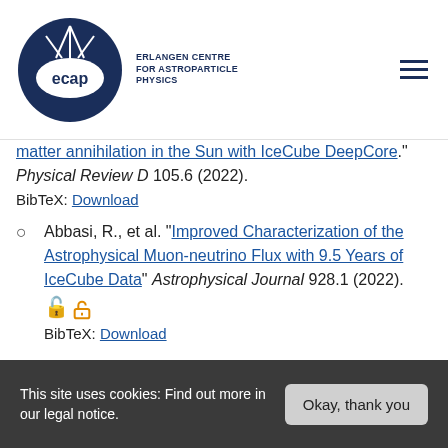ECAP – Erlangen Centre for Astroparticle Physics
matter annihilation in the Sun with IceCube DeepCore." Physical Review D 105.6 (2022). BibTeX: Download
Abbasi, R., et al. "Improved Characterization of the Astrophysical Muon-neutrino Flux with 9.5 Years of IceCube Data" Astrophysical Journal 928.1 (2022). [open access] BibTeX: Download
Abbasi, R., et al. "Framework and tools for the simulation and analysis of the radio emission from air showers at IceCube" Journal of Instrumentation 17.6 (2022).
This site uses cookies: Find out more in our legal notice.